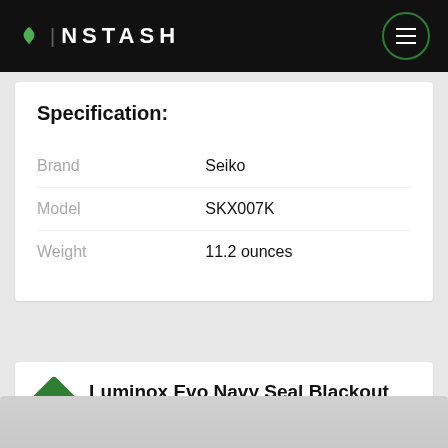INSTASH
Specification:
|  |  |
| --- | --- |
| Brand | Seiko |
| Model | SKX007K |
| Weight | 11.2 ounces |
6 Luminox Evo Navy Seal Blackout Men's Watch